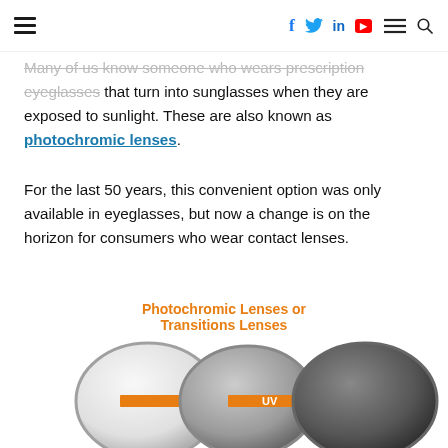≡  f  🐦  in  ▶  ≡  🔍
Many of us know someone who wears prescription eyeglasses that turn into sunglasses when they are exposed to sunlight. These are also known as photochromic lenses.
For the last 50 years, this convenient option was only available in eyeglasses, but now a change is on the horizon for consumers who wear contact lenses.
[Figure (infographic): Infographic showing photochromic/transition lenses: three overlapping lens shapes progressing from clear to dark grey, connected by orange arrows, with 'UV' label on the rightmost arrow. Title reads 'Photochromic Lenses or Transitions Lenses']